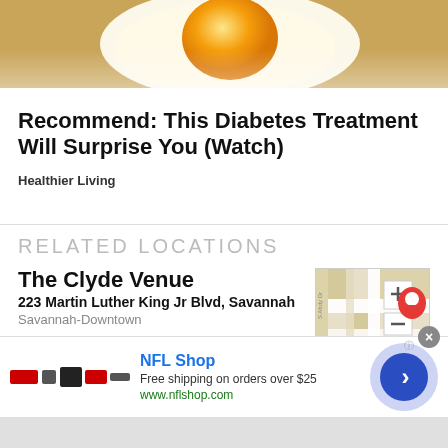[Figure (photo): Top portion of a food photo showing a fried egg with yellow yolk on a burlap/woven surface]
Recommend: This Diabetes Treatment Will Surprise You (Watch)
Healthier Living
RELATED LOCATIONS
The Clyde Venue
223 Martin Luther King Jr Blvd, Savannah
Savannah-Downtown
2 articles
[Figure (map): Map thumbnail showing location pin for The Clyde Venue in Savannah, with zoom in/out buttons]
NFL Shop
Free shipping on orders over $25
www.nflshop.com